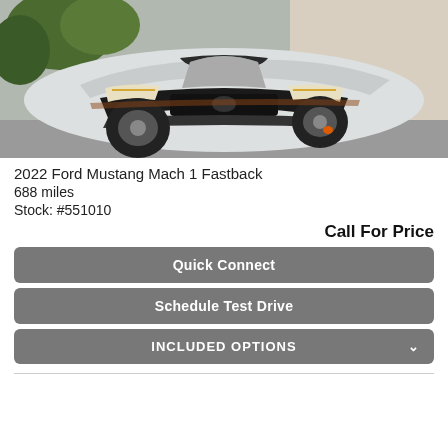[Figure (photo): Silver 2022 Ford Mustang Mach 1 Fastback photographed from the front three-quarter angle, outdoors with trees and a building in the background.]
2022 Ford Mustang Mach 1 Fastback
688 miles
Stock: #551010
Call For Price
Quick Connect
Schedule Test Drive
INCLUDED OPTIONS